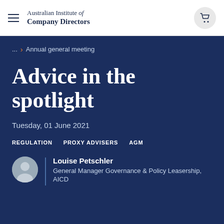Australian Institute of Company Directors
... › Annual general meeting
Advice in the spotlight
Tuesday, 01 June 2021
REGULATION   PROXY ADVISERS   AGM
Louise Petschler
General Manager Governance & Policy Leasership, AICD